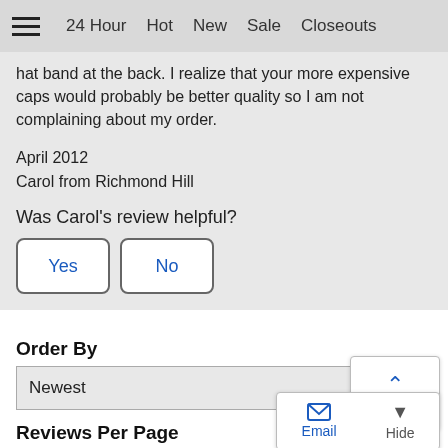24 Hour  Hot  New  Sale  Closeouts
hat band at the back. I realize that your more expensive caps would probably be better quality so I am not complaining about my order.
April 2012
Carol from Richmond Hill
Was Carol's review helpful?
Yes   No
Order By
Newest
Reviews Per Page
8